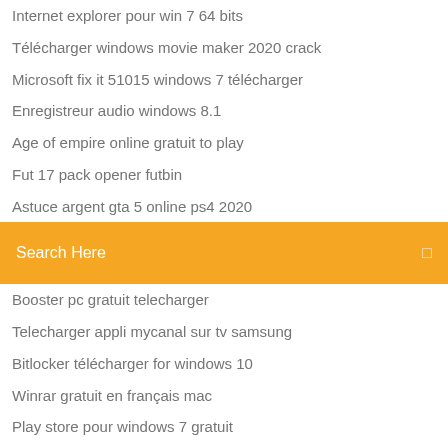Internet explorer pour win 7 64 bits
Télécharger windows movie maker 2020 crack
Microsoft fix it 51015 windows 7 télécharger
Enregistreur audio windows 8.1
Age of empire online gratuit to play
Fut 17 pack opener futbin
Astuce argent gta 5 online ps4 2020
[Figure (other): Orange search bar with 'Search Here' placeholder text and a small icon on the right]
Booster pc gratuit telecharger
Telecharger appli mycanal sur tv samsung
Bitlocker télécharger for windows 10
Winrar gratuit en français mac
Play store pour windows 7 gratuit
Naruto shippuden ultimate ninja storm ppsspp android
Disney magic kingdom 2020 map
Google play music carte bancaire obligatoire
Jeux video gratuit call of duty
Comment faire sonner un telephone en mode silencieux